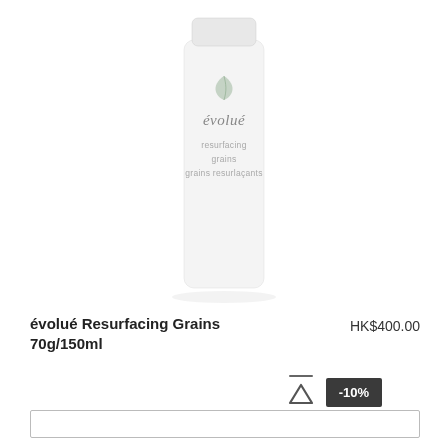[Figure (photo): White cylindrical bottle of évolué Resurfacing Grains 70g/150ml skincare product on white background]
évolué Resurfacing Grains
70g/150ml
HK$400.00
-10%